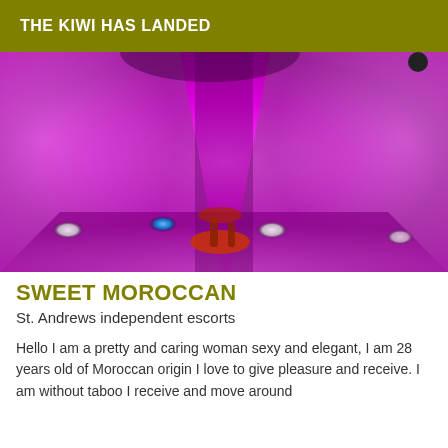THE KIWI HAS LANDED
[Figure (photo): A dimly lit room bathed in pink and magenta light with a tiled or smooth floor. Small accent lights are visible on the floor including a blue light. High-heeled shoes are visible in the lower center of the image.]
SWEET MOROCCAN
St. Andrews independent escorts
Hello I am a pretty and caring woman sexy and elegant, I am 28 years old of Moroccan origin I love to give pleasure and receive. I am without taboo I receive and move around